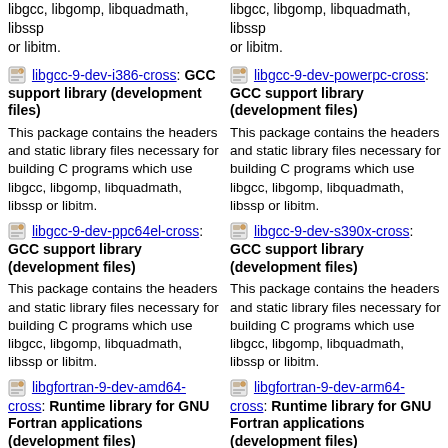libgcc, libgomp, libquadmath, libssp or libitm. (left col top)
libgcc, libgomp, libquadmath, libssp or libitm. (right col top)
libgcc-9-dev-i386-cross: GCC support library (development files)
This package contains the headers and static library files necessary for building C programs which use libgcc, libgomp, libquadmath, libssp or libitm.
libgcc-9-dev-powerpc-cross: GCC support library (development files)
This package contains the headers and static library files necessary for building C programs which use libgcc, libgomp, libquadmath, libssp or libitm.
libgcc-9-dev-ppc64el-cross: GCC support library (development files)
This package contains the headers and static library files necessary for building C programs which use libgcc, libgomp, libquadmath, libssp or libitm.
libgcc-9-dev-s390x-cross: GCC support library (development files)
This package contains the headers and static library files necessary for building C programs which use libgcc, libgomp, libquadmath, libssp or libitm.
libgfortran-9-dev-amd64-cross: Runtime library for GNU Fortran applications (development files)
This package contains the headers
libgfortran-9-dev-arm64-cross: Runtime library for GNU Fortran applications (development files)
This package contains the headers